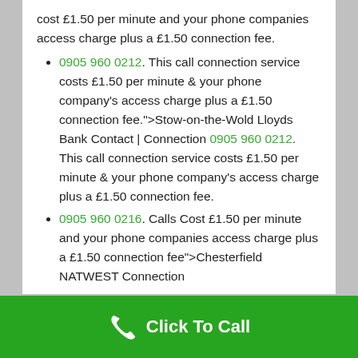cost £1.50 per minute and your phone companies access charge plus a £1.50 connection fee.
0905 960 0212. This call connection service costs £1.50 per minute & your phone company's access charge plus a £1.50 connection fee.">Stow-on-the-Wold Lloyds Bank Contact | Connection 0905 960 0212. This call connection service costs £1.50 per minute & your phone company's access charge plus a £1.50 connection fee.
0905 960 0216. Calls Cost £1.50 per minute and your phone companies access charge plus a £1.50 connection fee">Chesterfield NATWEST Connection
[Figure (other): Green footer bar with white phone icon and 'Click To Call' text button]